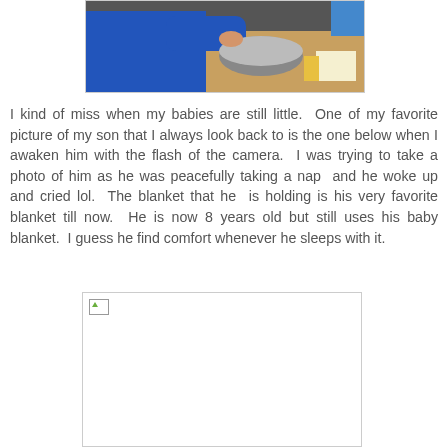[Figure (photo): A child in a blue jacket reaching over a metal bowl on a table, with papers and items visible in the background.]
I kind of miss when my babies are still little.  One of my favorite picture of my son that I always look back to is the one below when I awaken him with the flash of the camera.  I was trying to take a photo of him as he was peacefully taking a nap  and he woke up and cried lol.  The blanket that he  is holding is his very favorite blanket till now.  He is now 8 years old but still uses his baby blanket.  I guess he find comfort whenever he sleeps with it.
[Figure (photo): A broken/missing image placeholder (image failed to load).]